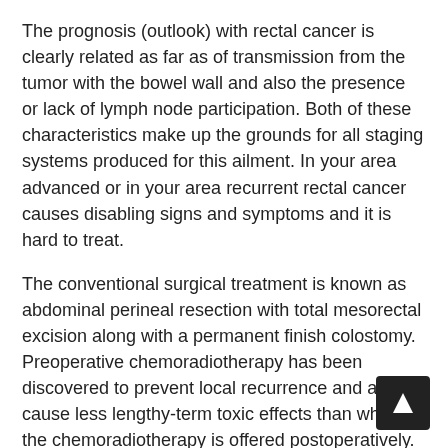The prognosis (outlook) with rectal cancer is clearly related as far as of transmission from the tumor with the bowel wall and also the presence or lack of lymph node participation. Both of these characteristics make up the grounds for all staging systems produced for this ailment. In your area advanced or in your area recurrent rectal cancer causes disabling signs and symptoms and it is hard to treat.
The conventional surgical treatment is known as abdominal perineal resection with total mesorectal excision along with a permanent finish colostomy. Preoperative chemoradiotherapy has been discovered to prevent local recurrence and also to cause less lengthy-term toxic effects than when the chemoradiotherapy is offered postoperatively. At 5 years, the general survival among patients with in your area advanced rectal cancer, regardless of when they have been had preoperative or postoperative chemoradiotherapy, is all about 75%.